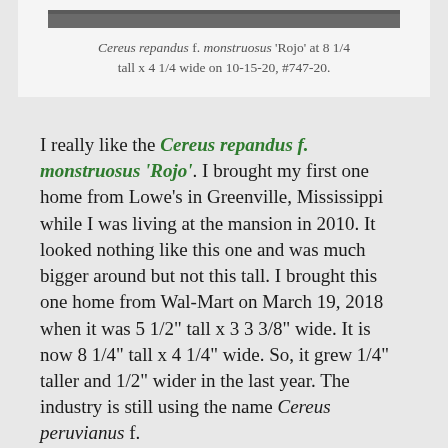[Figure (photo): Partial view of a cactus photo strip at top of caption box]
Cereus repandus f. monstruosus 'Rojo' at 8 1/4 tall x 4 1/4 wide on 10-15-20, #747-20.
I really like the Cereus repandus f. monstruosus 'Rojo'. I brought my first one home from Lowe's in Greenville, Mississippi while I was living at the mansion in 2010. It looked nothing like this one and was much bigger around but not this tall. I brought this one home from Wal-Mart on March 19, 2018 when it was 5 1/2" tall x 3 3 3/8" wide. It is now 8 1/4" tall x 4 1/4" wide. So, it grew 1/4" taller and 1/2" wider in the last year. The industry is still using the name Cereus peruvianus f.